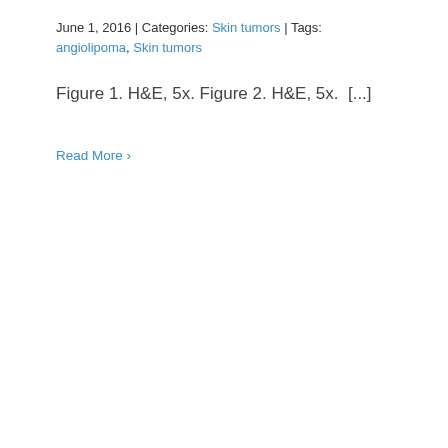June 1, 2016 | Categories: Skin tumors | Tags: angiolipoma, Skin tumors
Figure 1. H&E, 5x. Figure 2. H&E, 5x.  [...]
Read More >